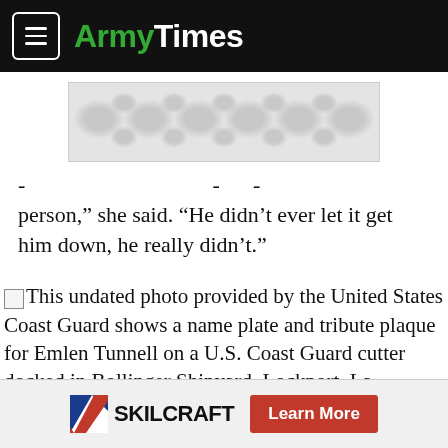ArmyTimes
[Figure (other): Advertisement placeholder with decorative dot/blob pattern]
person,” she said. “He didn’t ever let it get him down, he really didn’t.”
This undated photo provided by the United States Coast Guard shows a name plate and tribute plaque for Emlen Tunnell on a U.S. Coast Guard cutter docked in Bollinger Shipyard, Lockport, La.
SKILCRAFT Learn More